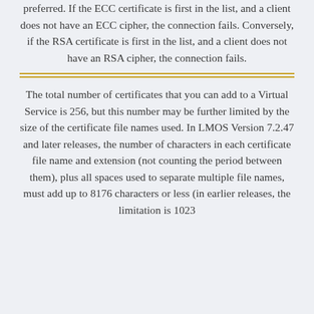preferred. If the ECC certificate is first in the list, and a client does not have an ECC cipher, the connection fails. Conversely, if the RSA certificate is first in the list, and a client does not have an RSA cipher, the connection fails.
The total number of certificates that you can add to a Virtual Service is 256, but this number may be further limited by the size of the certificate file names used. In LMOS Version 7.2.47 and later releases, the number of characters in each certificate file name and extension (not counting the period between them), plus all spaces used to separate multiple file names, must add up to 8176 characters or less (in earlier releases, the limitation is 1023